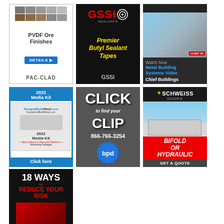[Figure (illustration): PAC-CLAD PVDF Ore Finishes advertisement showing color swatches, DETAILS button, and PAC-CLAD logo]
[Figure (illustration): GSSI Sealants advertisement for Premier Butyl Sealant Tapes on black background]
[Figure (illustration): Chief Buildings advertisement - Watch Now Metal Building Systems Video]
[Figure (illustration): 2022 Media Kit advertisement with Click here button]
[Figure (illustration): BPD advertisement - CLICK to find your CLIP 866-766-3254]
[Figure (illustration): Schweiss Doors advertisement - Bifold or Hydraulic, Get A Quote]
[Figure (illustration): 18 Ways to Reduce Your Risk advertisement]